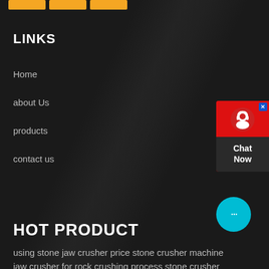[Figure (other): Three orange rectangular buttons at top of page]
LINKS
Home
about Us
products
contact us
[Figure (other): Chat Now widget with red background, headset icon, and dark bottom panel saying Chat Now, with close X button]
[Figure (other): Cyan circular chat bubble with ellipsis dots]
HOT PRODUCT
using stone jaw crusher price stone crusher machine
jaw crusher for rock crushing process stone crusher